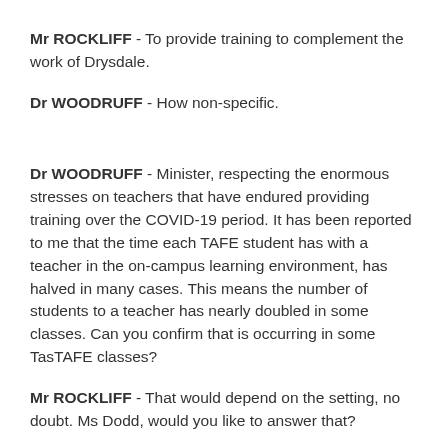Mr ROCKLIFF - To provide training to complement the work of Drysdale.
Dr WOODRUFF - How non-specific.
Dr WOODRUFF - Minister, respecting the enormous stresses on teachers that have endured providing training over the COVID-19 period. It has been reported to me that the time each TAFE student has with a teacher in the on-campus learning environment, has halved in many cases. This means the number of students to a teacher has nearly doubled in some classes. Can you confirm that is occurring in some TasTAFE classes?
Mr ROCKLIFF - That would depend on the setting, no doubt. Ms Dodd, would you like to answer that?